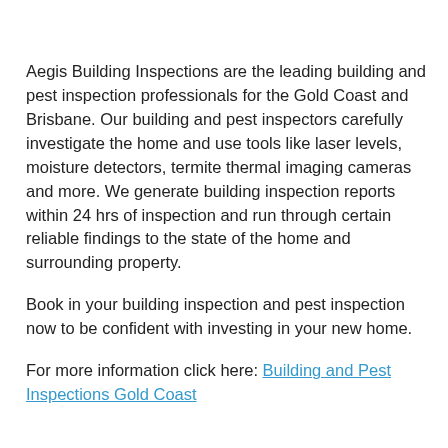Aegis Building Inspections are the leading building and pest inspection professionals for the Gold Coast and Brisbane. Our building and pest inspectors carefully investigate the home and use tools like laser levels, moisture detectors, termite thermal imaging cameras and more. We generate building inspection reports within 24 hrs of inspection and run through certain reliable findings to the state of the home and surrounding property.
Book in your building inspection and pest inspection now to be confident with investing in your new home.
For more information click here: Building and Pest Inspections Gold Coast